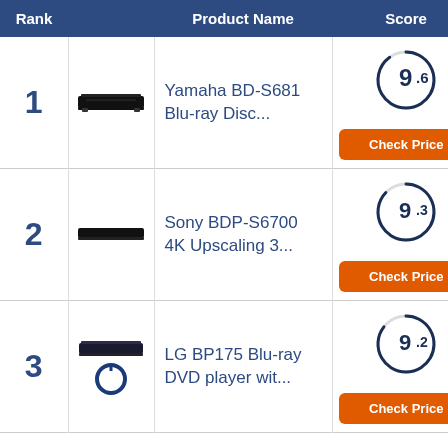| Rank | Product Name | Score |
| --- | --- | --- |
| 1 | Yamaha BD-S681 Blu-ray Disc... | 9.6 |
| 2 | Sony BDP-S6700 4K Upscaling 3... | 9.3 |
| 3 | LG BP175 Blu-ray DVD player wit... | 9.2 |